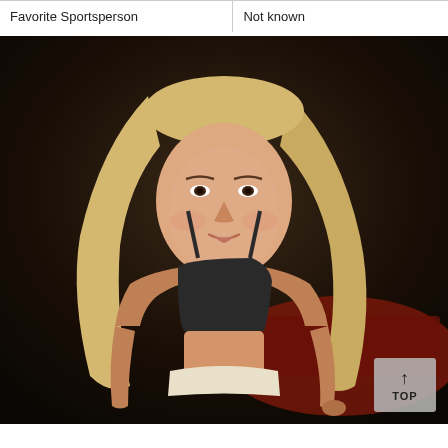| Favorite Sportsperson | Not known |
[Figure (photo): A young blonde woman wearing a black crop top and light-colored pants, posing in front of a dark background with a red car visible. A 'TOP' scroll button is visible in the bottom right corner of the photo.]